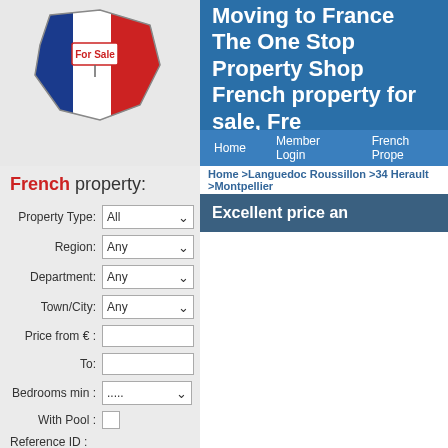[Figure (illustration): France map shape in blue, white, red tricolor with 'For Sale' sign on white section]
Moving to France
The One Stop Property Shop
French property for sale, Fre...
Home   Member Login   French Prope...
Home >Languedoc Roussillon >34 Herault >Montpellier...
Excellent price an...
French property:
Property Type: All
Region: Any
Department: Any
Town/City: Any
Price from € :
To:
Bedrooms min : .....
With Pool :
Reference ID :
FIND